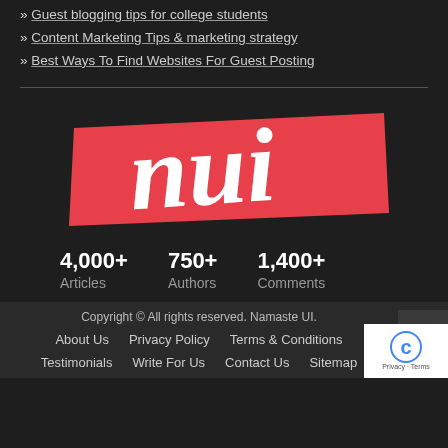» Guest blogging tips for college students
» Content Marketing Tips & marketing strategy
» Best Ways To Find Websites For Guest Posting
[Figure (logo): NUI logo — white handwritten/brush-script text 'nui' on a red diagonal banner background]
4,000+ Articles   750+ Authors   1,400+ Comments
Copyright © All rights reserved. Namaste UI.
About Us   Privacy Policy   Terms & Conditions
Testimonials   Write For Us   Contact Us   Sitemap